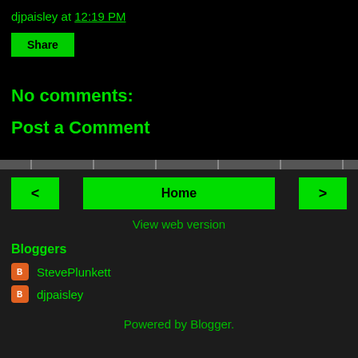djpaisley at 12:19 PM
Share
No comments:
Post a Comment
< Home >
View web version
Bloggers
StevePlunkett
djpaisley
Powered by Blogger.